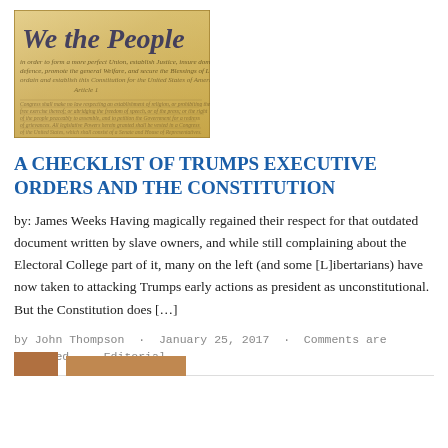[Figure (photo): Image of the US Constitution document showing 'We the People' text in large script at the top with handwritten text below]
A CHECKLIST OF TRUMPS EXECUTIVE ORDERS AND THE CONSTITUTION
by: James Weeks Having magically regained their respect for that outdated document written by slave owners, and while still complaining about the Electoral College part of it, many on the left (and some [L]ibertarians) have now taken to attacking Trumps early actions as president as unconstitutional. But the Constitution does […]
by John Thompson · January 25, 2017 · Comments are Disabled · Editorial